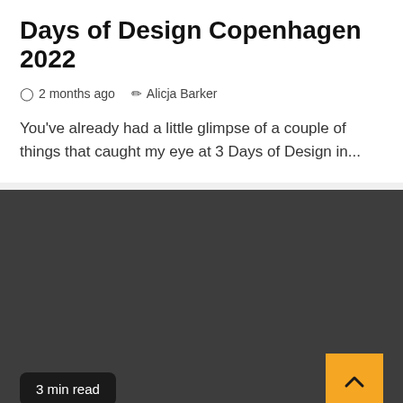Days of Design Copenhagen 2022
⊙ 2 months ago  ✎ Alicja Barker
You've already had a little glimpse of a couple of things that caught my eye at 3 Days of Design in...
[Figure (other): Dark gray background section serving as image placeholder for the article]
3 min read